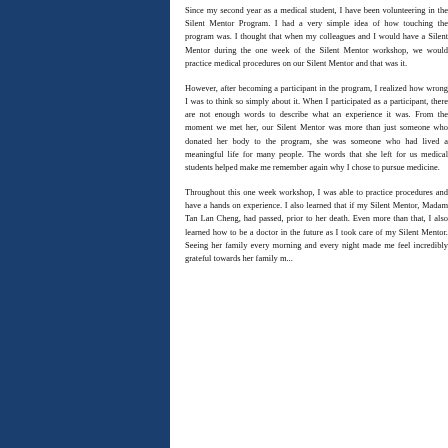Since my second year as a medical student, I have been volunteering in the Silent Mentor Program. I had a very simple idea of how touching the program was. I thought that when my colleagues and I would have a Silent Mentor during the one week of the Silent Mentor workshop, we would practice medical procedures on our Silent Mentor and that was it.
However, after becoming a participant in the program, I realized how wrong I was to think so simply about it. When I participated as a participant, there are not enough words to describe what an experience it was. From the moment we met her, our Silent Mentor was more than just someone who donated her body to the program, she was someone who had lived a meaningful life for many people. The words that she left for us medical students helped make me remember again why I chose to pursue medicine.
Throughout this one week workshop, I was able to practice procedures and have a hands on experience. I also learned that if my Silent Mentor, Madam Tan Lan Cheng, had passed, prior to her death. Even more than that, I also learned how to be a doctor in the future as I took care of my Silent Mentor. Seeing her family every morning and every night made me feel incredibly grateful towards her family m...